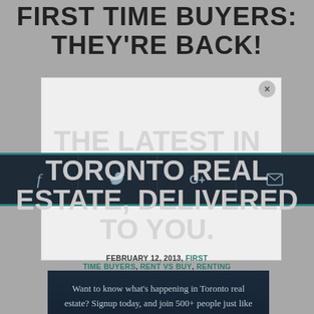FIRST TIME BUYERS: THEY'RE BACK!
[Figure (screenshot): Social sharing toolbar with Facebook, Twitter, Google+, and email icons on dark navy background with teal border lines]
[Figure (infographic): Newsletter signup overlay with large bold text: THE LATEST IN TORONTO REAL ESTATE, DELIVERED TO YOU.]
FEBRUARY 12, 2013, FIRST TIME BUYERS, RENT VS BUY, RENTING
[Figure (photo): Dark blue-toned photo of a person silhouette with hands raised, with newsletter signup text: Want to know what's happening in Toronto real estate? Signup today, and join 500+ people just like you that are already being kept up to date.]